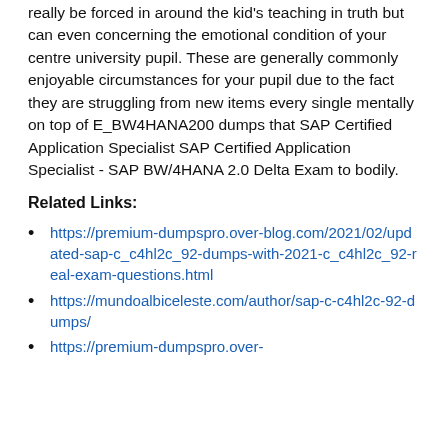really be forced in around the kid's teaching in truth but can even concerning the emotional condition of your centre university pupil. These are generally commonly enjoyable circumstances for your pupil due to the fact they are struggling from new items every single mentally on top of E_BW4HANA200 dumps that SAP Certified Application Specialist SAP Certified Application Specialist - SAP BW/4HANA 2.0 Delta Exam to bodily.
Related Links:
https://premium-dumpspro.over-blog.com/2021/02/updated-sap-c_c4hl2c_92-dumps-with-2021-c_c4hl2c_92-real-exam-questions.html
https://mundoalbiceleste.com/author/sap-c-c4hl2c-92-dumps/
https://premium-dumpspro.over-blog.com/2021/02/updated-sap-c_c4hl2c_92-dumps...